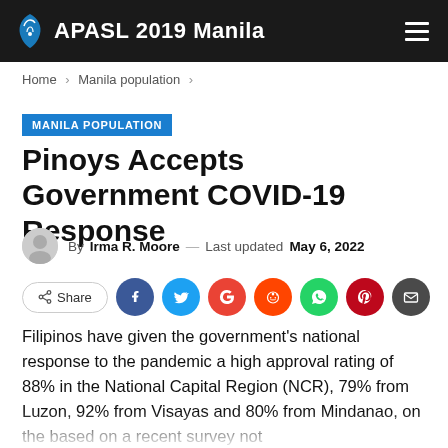APASL 2019 Manila
Home > Manila population >
MANILA POPULATION
Pinoys Accepts Government COVID-19 Response
By Irma R. Moore — Last updated May 6, 2022
[Figure (infographic): Social share buttons: Share, Facebook, Twitter, Google, Reddit, WhatsApp, Pinterest, Email]
Filipinos have given the government's national response to the pandemic a high approval rating of 88% in the National Capital Region (NCR), 79% from Luzon, 92% from Visayas and 80% from Mindanao, on the based on a recent survey not